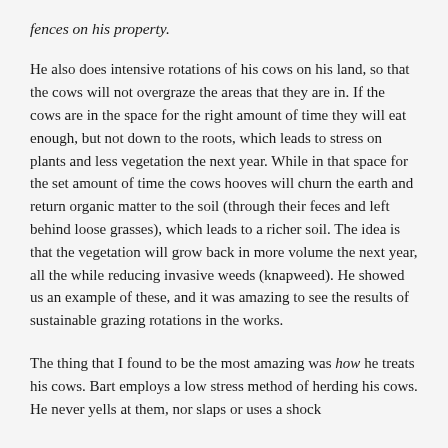fences on his property.
He also does intensive rotations of his cows on his land, so that the cows will not overgraze the areas that they are in. If the cows are in the space for the right amount of time they will eat enough, but not down to the roots, which leads to stress on plants and less vegetation the next year. While in that space for the set amount of time the cows hooves will churn the earth and return organic matter to the soil (through their feces and left behind loose grasses), which leads to a richer soil. The idea is that the vegetation will grow back in more volume the next year, all the while reducing invasive weeds (knapweed). He showed us an example of these, and it was amazing to see the results of sustainable grazing rotations in the works.
The thing that I found to be the most amazing was how he treats his cows. Bart employs a low stress method of herding his cows. He never yells at them, nor slaps or uses a shock